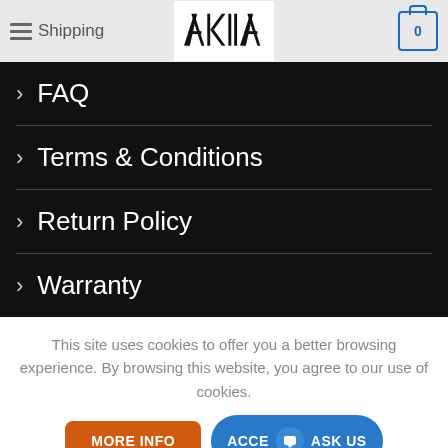Shipping — AKIIA ELECTRONICS — Cart 0
> FAQ
> Terms & Conditions
> Return Policy
> Warranty
This site uses cookies to offer you a better browsing experience. By browsing this website, you agree to our use of cookies.
MORE INFO | ACCEPT | Ask us